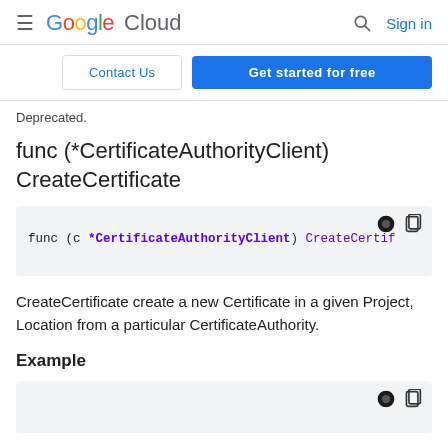Google Cloud — Sign in
Contact Us | Get started for free
Deprecated.
func (*CertificateAuthorityClient) CreateCertificate
[Figure (screenshot): Code block showing: func (c *CertificateAuthorityClient) CreateCertif]
CreateCertificate create a new Certificate in a given Project, Location from a particular CertificateAuthority.
Example
[Figure (screenshot): Code block with theme and copy icons visible]